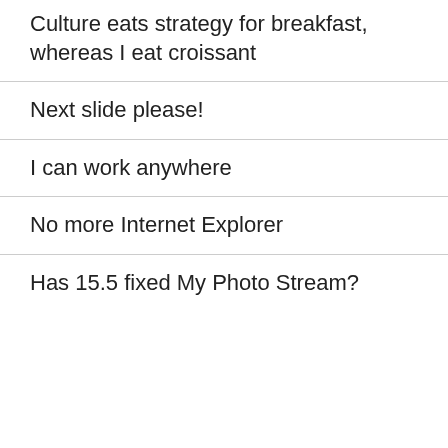Culture eats strategy for breakfast, whereas I eat croissant
Next slide please!
I can work anywhere
No more Internet Explorer
Has 15.5 fixed My Photo Stream?